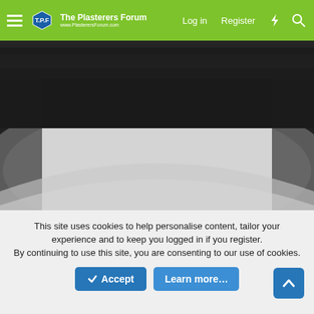The Plasterers Forum — Log in  Register
[Figure (photo): Dark top strip showing upper portion of an interior room, ceiling area, very dark/shadowed]
[Figure (photo): Interior room photo showing a plastered ceiling with a curved/vaulted shape, three windows visible at the bottom, dark room with white plastered ceiling and walls]
This site uses cookies to help personalise content, tailor your experience and to keep you logged in if you register. By continuing to use this site, you are consenting to our use of cookies.
Accept
Learn more...